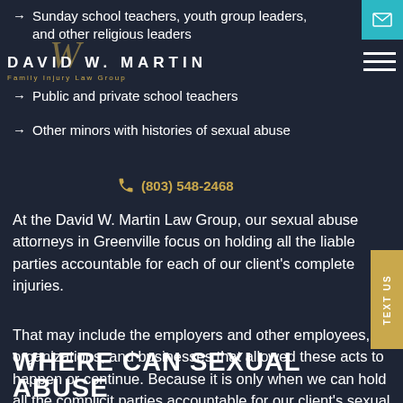Sunday school teachers, youth group leaders, and other religious leaders
Public and private school teachers
Other minors with histories of sexual abuse
At the David W. Martin Law Group, our sexual abuse attorneys in Greenville focus on holding all the liable parties accountable for each of our client's complete injuries.
That may include the employers and other employees, organizations, and businesses that allowed these acts to happen or continue. Because it is only when we can hold all the complicit parties accountable for our client's sexual abuse can they begin to heal.
WHERE CAN SEXUAL ABUSE